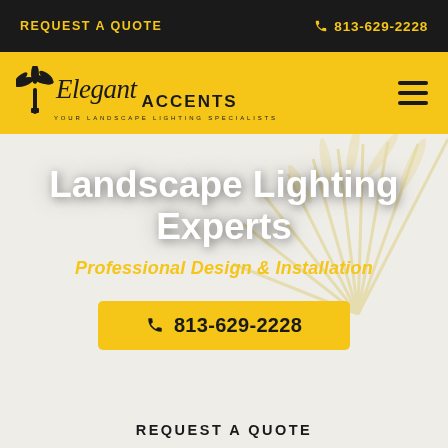REQUEST A QUOTE | ☎ 813-629-2228
[Figure (logo): Elegant Accents - Your Landscape Lighting Specialists logo with palm tree icon on yellow background]
Landscape Lighting Experts
Professional Design & Installation
☎ 813-629-2228
REQUEST A QUOTE